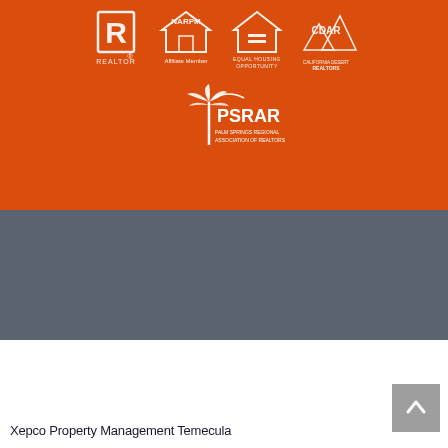[Figure (logo): Orange background section with five organization logos: REALTOR (R logo), NARPM Affiliate Member, Equal Housing Opportunity, CDAR California Desert Association of Realtors, and PSRAR Palm Springs Regional Association of Realtors]
[Figure (other): Gray/slate colored section, empty background]
Xepco Property Management Temecula
[Figure (other): Back-to-top button (caret/chevron up arrow) in gray on bottom right]